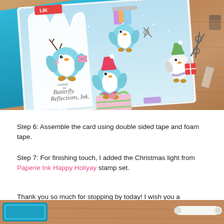[Figure (photo): Photograph of a handmade Christmas card featuring cute penguin characters with gifts and decorations, placed on a teal envelope on a wood surface. The card has a light blue background with white snow tree die cuts and multiple penguin figures carrying gifts and wrapped presents. A watermark reads 'created for Butterfly Reflections, Ink.' Craft supplies including scissors are visible in the background.]
Step 6: Assemble the card using double sided tape and foam tape.
Step 7: For finishing touch, I added the Christmas light from Paperie Ink Happy Holiyay stamp set.
Thank you so much for stopping by today! I wish you a wonderful day! Crafty hugs, Leeds
[Figure (photo): Partial bottom photo showing craft supplies including a teal ink pad and other stamping tools on a wooden surface.]